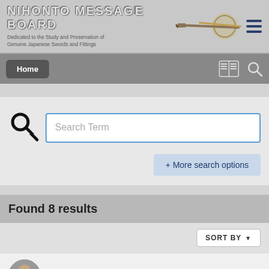Nihonto Message Board - Dedicated to the Study and Preservation of Genuine Japanese Swords and Fittings
Home
Search Term
+ More search options
Found 8 results
SORT BY